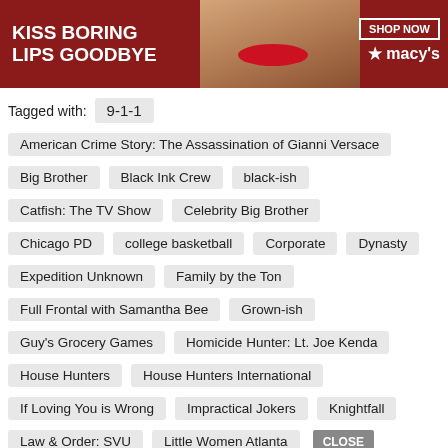[Figure (photo): Advertisement banner: KISS BORING LIPS GOODBYE with SHOP NOW and Macy's logo, showing a woman's face with red lips]
Tagged with:  9-1-1
American Crime Story: The Assassination of Gianni Versace
Big Brother
Black Ink Crew
black-ish
Catfish: The TV Show
Celebrity Big Brother
Chicago PD
college basketball
Corporate
Dynasty
Expedition Unknown
Family by the Ton
Full Frontal with Samantha Bee
Grown-ish
Guy's Grocery Games
Homicide Hunter: Lt. Joe Kenda
House Hunters
House Hunters International
If Loving You is Wrong
Impractical Jokers
Knightfall
Law & Order: SVU
Little Women Atlanta
Locke
[Figure (photo): MAC cosmetics advertisement with lipsticks and SHOP NOW button]